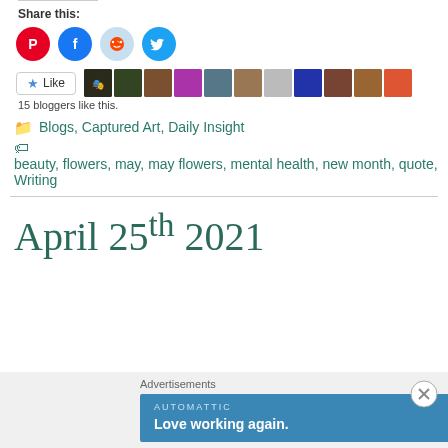Share this:
[Figure (infographic): Social share buttons: Pinterest (red), Facebook (blue), Reddit (light blue), Twitter (cyan)]
[Figure (infographic): Like button with star icon and row of 11 blogger avatar thumbnails. Text: 15 bloggers like this.]
15 bloggers like this.
Blogs, Captured Art, Daily Insight
beauty, flowers, may, may flowers, mental health, new month, quote, Writing
April 25th 2021
[Figure (infographic): Automattic advertisement banner with text 'AUTOMATTIC' and 'Love working again.' on a teal/blue background. Close button (circled X) at top right.]